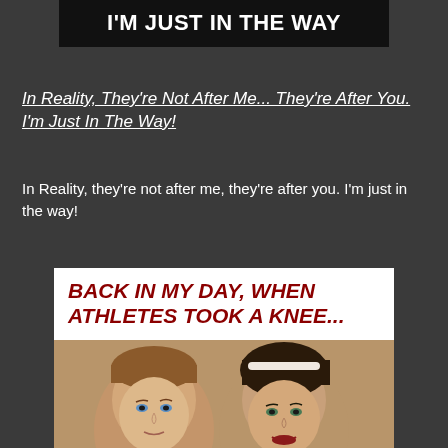[Figure (other): Black banner with bold white text: I'M JUST IN THE WAY]
In Reality, They're Not After Me... They're After You. I'm Just In The Way!
In Reality, they're not after me, they're after you. I'm just in the way!
[Figure (photo): Meme image with white banner reading 'BACK IN MY DAY, WHEN ATHLETES TOOK A KNEE...' in bold dark red italic text, followed by a photo of two young women posing together]